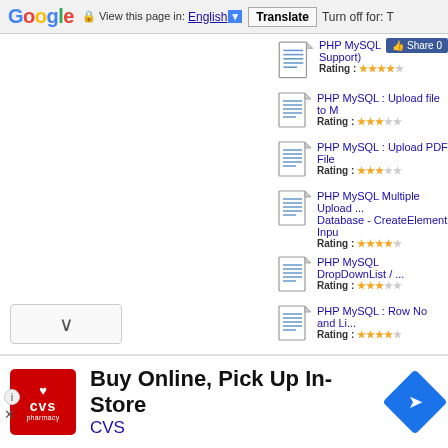Google | View this page in: English | Translate | Turn off for: T
PHP MySQL (Support)
Rating: ★★★★☆
PHP MySQL : Upload file to M...
Rating: ★★★☆☆
PHP MySQL : Upload PDF File...
Rating: ★★★☆☆
PHP MySQL Multiple Upload ... Database - CreateElement Inpu...
Rating: ★★★★☆
PHP MySQL DropDownList / ...
Rating: ★★★☆☆
PHP MySQL : Row No and Li...
Rating: ★★★★☆
[Figure (infographic): CVS Pharmacy advertisement: Buy Online, Pick Up In-Store, CVS]